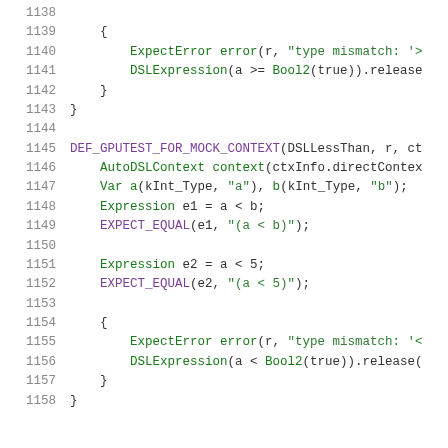Code listing lines 1138-1158 showing DSL test code in C++